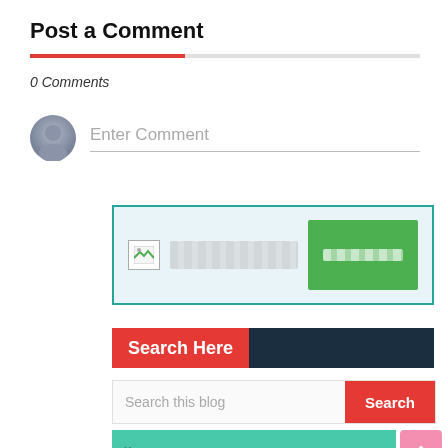Post a Comment
0 Comments
[Figure (screenshot): Comment input area with avatar icon and Enter Comment placeholder text]
[Figure (screenshot): CAPTCHA/verification widget box with small image icon, blurred text field, and green button with blurred label]
Search Here
[Figure (screenshot): Search input field with 'Search this blog' placeholder and red Search button]
[Figure (screenshot): Green testimonial/quote bar with quotation mark icon and blurred text, with pink scroll-to-top button]